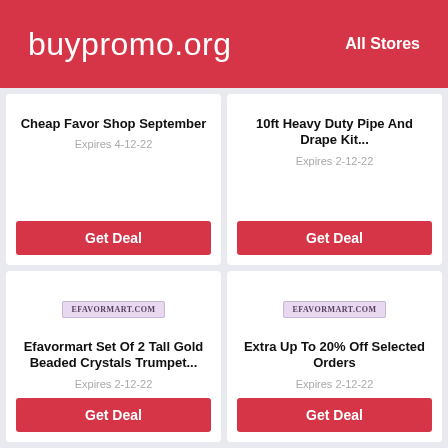buypromo.org   All Stores
Cheap Favor Shop September
Expires 4-12-22
Get Deal
10ft Heavy Duty Pipe And Drape Kit...
Expires 2-12-22
Get Deal
[Figure (logo): eFavorMart.com badge/label]
Efavormart Set Of 2 Tall Gold Beaded Crystals Trumpet...
Expires 2-12-22
Get Deal
[Figure (logo): eFavorMart.com badge/label]
Extra Up To 20% Off Selected Orders
Expires 2-12-22
Get Deal